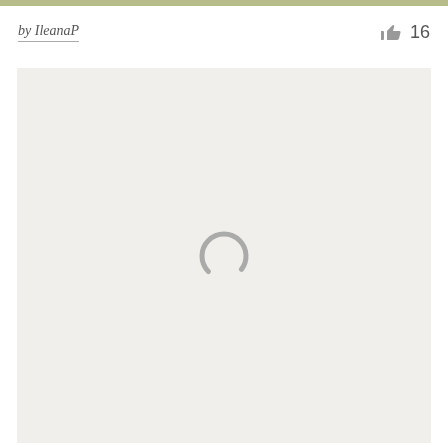by IleanaP  👍 16
[Figure (screenshot): A loading spinner (partial circle arc) centered in a light gray content area, indicating content is being loaded.]